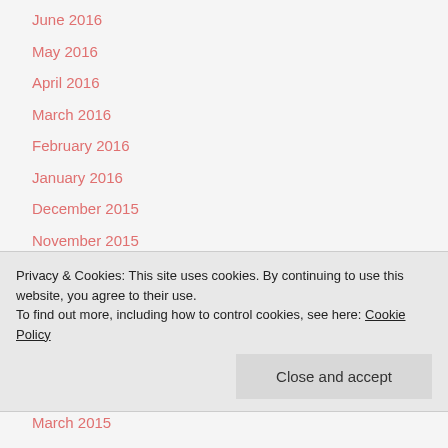June 2016
May 2016
April 2016
March 2016
February 2016
January 2016
December 2015
November 2015
October 2015
September 2015
Privacy & Cookies: This site uses cookies. By continuing to use this website, you agree to their use.
To find out more, including how to control cookies, see here: Cookie Policy
Close and accept
March 2015